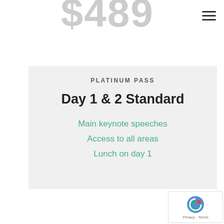$489
PLATINUM PASS
Day 1 & 2 Standard
Main keynote speeches
Access to all areas
Lunch on day 1